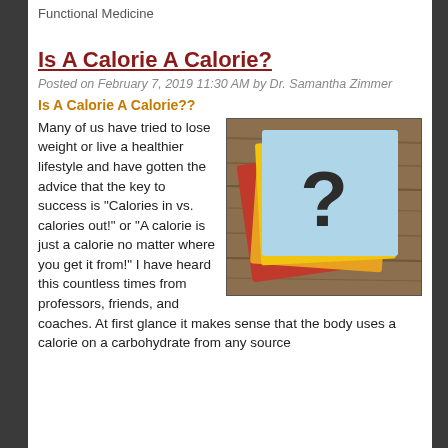Functional Medicine
Is A Calorie A Calorie?
Posted on February 7, 2019 11:30 AM by Dr. Samantha Zimmer
Is A Calorie A Calorie??
[Figure (photo): Stack of colorful sticky notes (red, orange/yellow, blue on top) with a question mark drawn on the top blue note, sitting on a wooden surface]
Many of us have tried to lose weight or live a healthier lifestyle and have gotten the advice that the key to success is “Calories in vs. calories out!” or “A calorie is just a calorie no matter where you get it from!” I have heard this countless times from professors, friends, and coaches. At first glance it makes sense that the body uses a calorie on a carbohydrate from any source